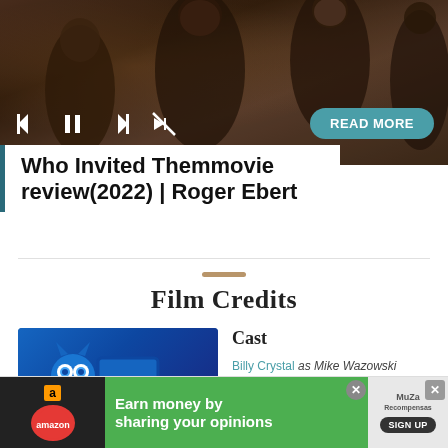[Figure (screenshot): Video player screenshot showing a party scene with people, media control icons (previous, pause, next, mute) and a teal READ MORE button overlay]
Who Invited Themmovie review(2022) | Roger Ebert
Film Credits
[Figure (photo): Animated movie poster showing a blue monster character (Monsters Inc style) in front of a blue door]
Cast
Billy Crystal as Mike Wazowski
James Coburn as Henry J.
[Figure (screenshot): Advertisement banner: Earn money by sharing your opinions - Amazon/MuZa Recompensas with SIGN UP button]